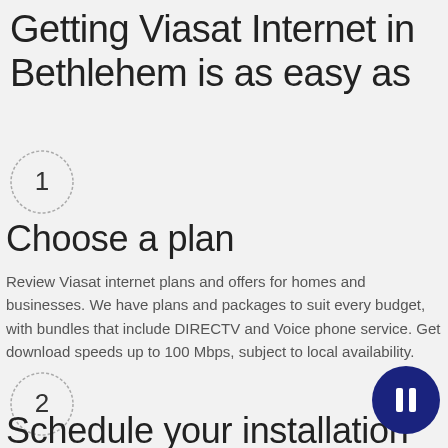Getting Viasat Internet in Bethlehem is as easy as
[Figure (illustration): Circle with number 1 inside, step indicator]
Choose a plan
Review Viasat internet plans and offers for homes and businesses. We have plans and packages to suit every budget, with bundles that include DIRECTV and Voice phone service. Get download speeds up to 100 Mbps, subject to local availability.
[Figure (illustration): Circle with number 2 inside, step indicator]
Schedule your installation
[Figure (illustration): Dark navy circle with pause icon (vertical bar), UI button]